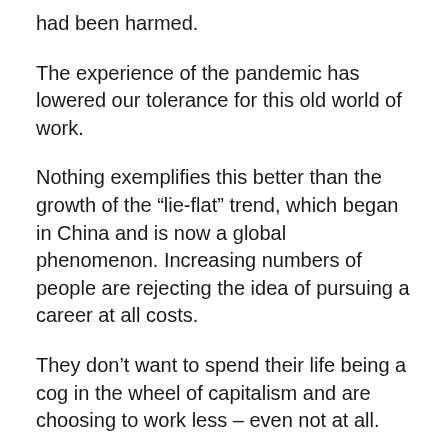had been harmed.
The experience of the pandemic has lowered our tolerance for this old world of work.
Nothing exemplifies this better than the growth of the “lie-flat” trend, which began in China and is now a global phenomenon. Increasing numbers of people are rejecting the idea of pursuing a career at all costs.
They don’t want to spend their life being a cog in the wheel of capitalism and are choosing to work less – even not at all.
No one size fits all